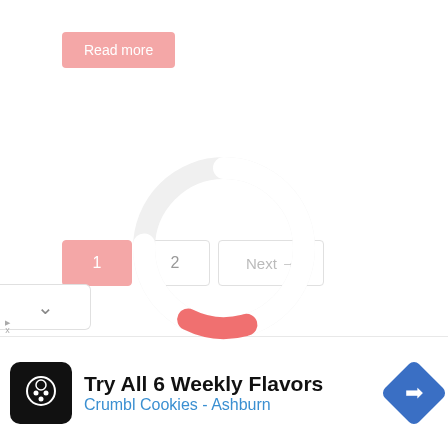Read more
1  2  Next →
[Figure (other): Circular loading spinner with white ring and a red/salmon arc segment at the bottom right, overlapping a blue advertisement panel]
[Figure (other): Blue advertisement panel for Melissa Rebella Ink with text: Melissa Rebella Ink, Melissa Rebella Ink Complimentary Consultation, Wake Up Perfect Every Day. Has X and ad icon close buttons top right.]
Try All 6 Weekly Flavors
Crumbl Cookies - Ashburn